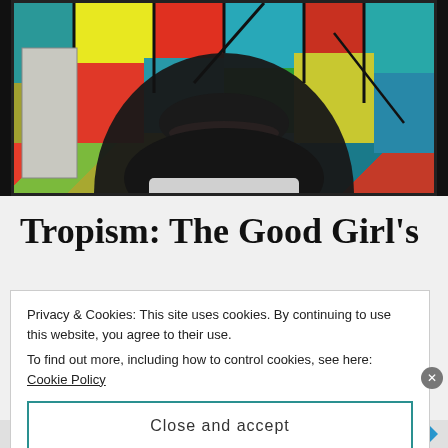[Figure (photo): Close-up photo of a person's face from the nose down, in front of a colorful stained-glass window with red, teal, yellow, and green panels. The subject appears to be wearing a white collar. A smaller black-and-white photo is visible on the left edge.]
Tropism: The Good Girl’s
Privacy & Cookies: This site uses cookies. By continuing to use this website, you agree to their use.
To find out more, including how to control cookies, see here: Cookie Policy
Close and accept